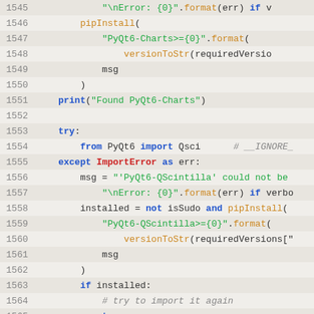[Figure (screenshot): Python source code editor screenshot showing lines 1545-1570 with syntax highlighting. Code deals with installing PyQt6-Charts and PyQt6-QScintilla packages.]